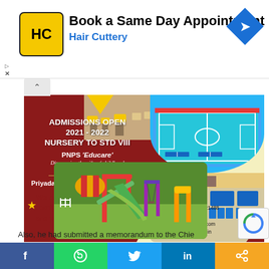[Figure (infographic): Hair Cuttery ad banner with logo, text 'Book a Same Day Appointment', 'Hair Cuttery', and direction icon]
[Figure (infographic): School admission advertisement for Priyadarshini Nagpur Public School - PNPS Educare. Admissions Open 2021-2022, Nursery to Std VIII. Shows sports court, classroom, and playground photos. Contact details included.]
Also, he had submitted a memorandum to the Chie...
[Figure (infographic): Social media share bar with Facebook, WhatsApp, Twitter, LinkedIn, and share icons]